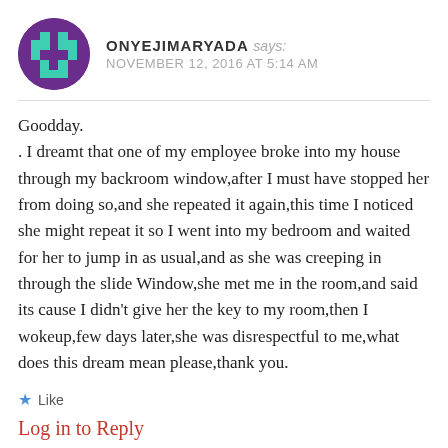ONYEJIMARYADA says: NOVEMBER 12, 2016 AT 5:14 AM
Goodday.
. I dreamt that one of my employee broke into my house through my backroom window,after I must have stopped her from doing so,and she repeated it again,this time I noticed she might repeat it so I went into my bedroom and waited for her to jump in as usual,and as she was creeping in through the slide Window,she met me in the room,and said its cause I didn't give her the key to my room,then I wokeup,few days later,she was disrespectful to me,what does this dream mean please,thank you.
★ Like
Log in to Reply